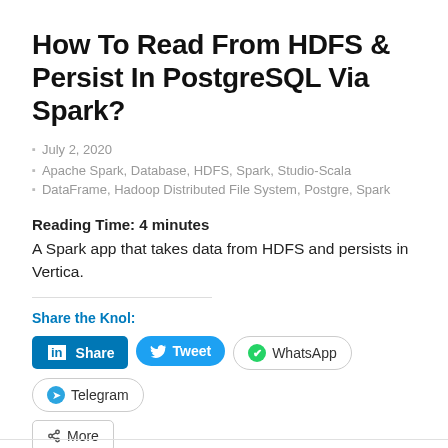How To Read From HDFS & Persist In PostgreSQL Via Spark?
July 2, 2020
Apache Spark, Database, HDFS, Spark, Studio-Scala
DataFrame, Hadoop Distributed File System, Postgre, Spark
Reading Time: 4 minutes
A Spark app that takes data from HDFS and persists in Vertica.
Share the Knol:
Share
Tweet
WhatsApp
Telegram
More